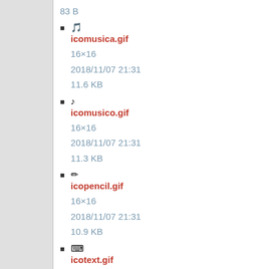83 B
🎵 icomusica.gif
16×16
2018/11/07 21:31
11.6 KB
♪ icomusico.gif
16×16
2018/11/07 21:31
11.3 KB
✏ icopencil.gif
16×16
2018/11/07 21:31
10.9 KB
⌨ icotext.gif
16×16
2018/11/07 21:31